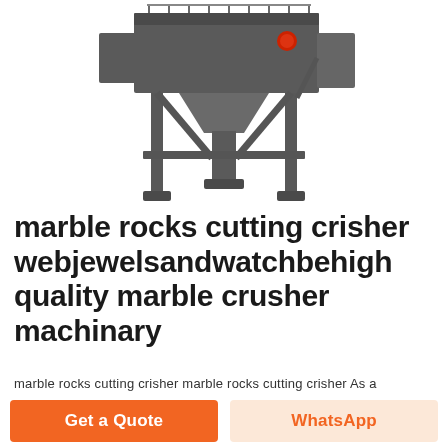[Figure (photo): Industrial marble crusher / screening machine on elevated steel frame structure, photographed on white background. Large rectangular hopper on top with steel walkway/railing, supported by diagonal and vertical steel legs with hopper outlet at bottom.]
marble rocks cutting crisher webjewelsandwatchbehigh quality marble crusher machinary
marble rocks cutting crisher marble rocks cutting crisher As a
Get a Quote
WhatsApp